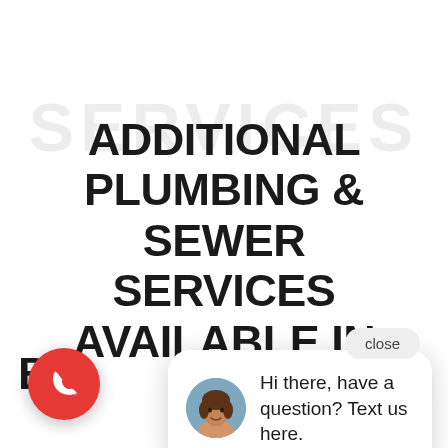ADDITIONAL PLUMBING & SEWER SERVICES AVAILABLE IN B
[Figure (screenshot): Chat popup widget with avatar photo of a woman, message 'Hi there, have a question? Text us here.' with a close button, overlaid on a plumbing services website page. Red phone call button in bottom left, blue chat button in bottom right, plumbing faucet icon at bottom center.]